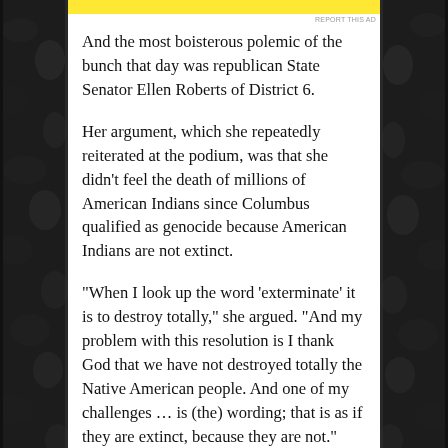And the most boisterous polemic of the bunch that day was republican State Senator Ellen Roberts of District 6.
Her argument, which she repeatedly reiterated at the podium, was that she didn’t feel the death of millions of American Indians since Columbus qualified as genocide because American Indians are not extinct.
“When I look up the word ‘exterminate’ it is to destroy totally,” she argued. “And my problem with this resolution is I thank God that we have not destroyed totally the Native American people. And one of my challenges … is (the) wording; that is as if they are extinct, because they are not.”
It is curious then that the day prior Roberts added her name as cosponsor to Senate Joint Resolution